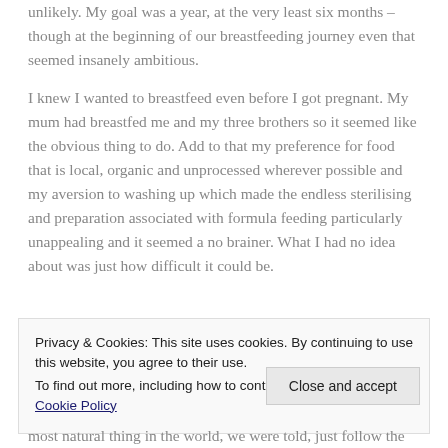unlikely. My goal was a year, at the very least six months – though at the beginning of our breastfeeding journey even that seemed insanely ambitious.
I knew I wanted to breastfeed even before I got pregnant. My mum had breastfed me and my three brothers so it seemed like the obvious thing to do. Add to that my preference for food that is local, organic and unprocessed wherever possible and my aversion to washing up which made the endless sterilising and preparation associated with formula feeding particularly unappealing and it seemed a no brainer. What I had no idea about was just how difficult it could be.
Privacy & Cookies: This site uses cookies. By continuing to use this website, you agree to their use. To find out more, including how to control cookies, see here: Cookie Policy
Close and accept
most natural thing in the world, we were told, just follow the